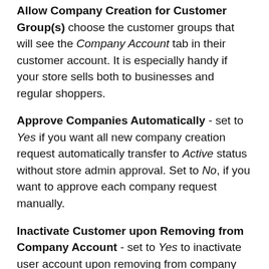Allow Company Creation for Customer Group(s) choose the customer groups that will see the Company Account tab in their customer account. It is especially handy if your store sells both to businesses and regular shoppers.
Approve Companies Automatically - set to Yes if you want all new company creation request automatically transfer to Active status without store admin approval. Set to No, if you want to approve each company request manually.
Inactivate Customer upon Removing from Company Account - set to Yes to inactivate user account upon removing from company account by the store admin.
Please note that, if the company administrator deleted a user from the company account management panel, the user will be permanently deleted